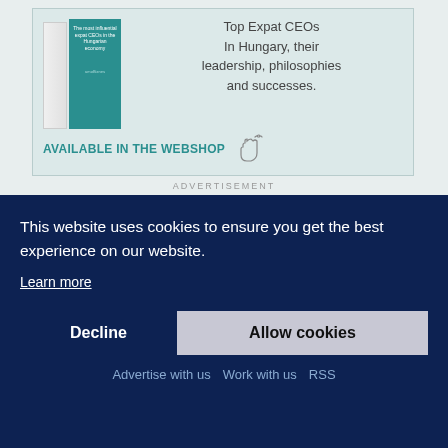[Figure (illustration): Advertisement banner showing a book titled 'The most influential expat CEOs in the Hungarian economy' with tagline 'Top Expat CEOs In Hungary, their leadership, philosophies and successes.' and 'AVAILABLE IN THE WEBSHOP']
ADVERTISEMENT
[Figure (screenshot): Partial financial ticker strip showing stock indices with values: 40, -4.2 on left; 3.23, 0.25 on right; TradingView logo partially visible]
This website uses cookies to ensure you get the best experience on our website.
Learn more
Decline
Allow cookies
Advertise with us   Work with us   RSS